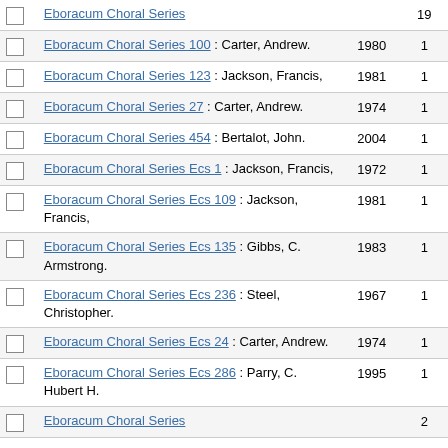|  | Title | Year | Count |
| --- | --- | --- | --- |
| ☐ | Eboracum Choral Series |  | 19 |
| ☐ | Eboracum Choral Series 100 : Carter, Andrew. | 1980 | 1 |
| ☐ | Eboracum Choral Series 123 : Jackson, Francis, | 1981 | 1 |
| ☐ | Eboracum Choral Series 27 : Carter, Andrew. | 1974 | 1 |
| ☐ | Eboracum Choral Series 454 : Bertalot, John. | 2004 | 1 |
| ☐ | Eboracum Choral Series Ecs 1 : Jackson, Francis, | 1972 | 1 |
| ☐ | Eboracum Choral Series Ecs 109 : Jackson, Francis, | 1981 | 1 |
| ☐ | Eboracum Choral Series Ecs 135 : Gibbs, C. Armstrong. | 1983 | 1 |
| ☐ | Eboracum Choral Series Ecs 236 : Steel, Christopher. | 1967 | 1 |
| ☐ | Eboracum Choral Series Ecs 24 : Carter, Andrew. | 1974 | 1 |
| ☐ | Eboracum Choral Series Ecs 286 : Parry, C. Hubert H. | 1995 | 1 |
| ☐ | Eboracum Choral Series |  | 2 |